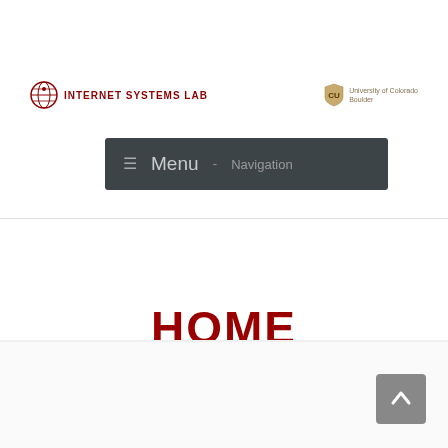[Figure (logo): Internet Systems Lab logo with globe icon and red bold text]
[Figure (logo): University of Colorado Boulder shield logo with text]
Menu - Navigation
HOME
[Figure (other): Back to top button with upward arrow]